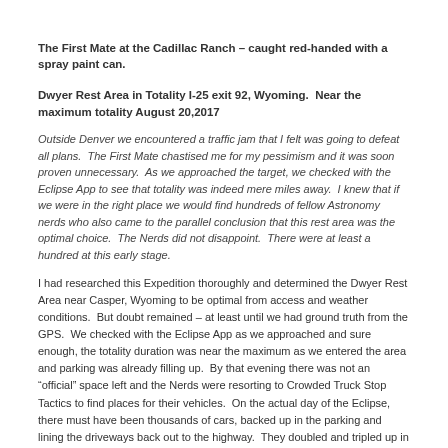The First Mate at the Cadillac Ranch – caught red-handed with a spray paint can.
Dwyer Rest Area in Totality I-25 exit 92, Wyoming.  Near the maximum totality August 20,2017
Outside Denver we encountered a traffic jam that I felt was going to defeat all plans.  The First Mate chastised me for my pessimism and it was soon proven unnecessary.  As we approached the target, we checked with the Eclipse App to see that totality was indeed mere miles away.  I knew that if we were in the right place we would find hundreds of fellow Astronomy nerds who also came to the parallel conclusion that this rest area was the optimal choice.  The Nerds did not disappoint.  There were at least a hundred at this early stage.
I had researched this Expedition thoroughly and determined the Dwyer Rest Area near Casper, Wyoming to be optimal from access and weather conditions.  But doubt remained – at least until we had ground truth from the GPS.  We checked with the Eclipse App as we approached and sure enough, the totality duration was near the maximum as we entered the area and parking was already filling up.  By that evening there was not an “official” space left and the Nerds were resorting to Crowded Truck Stop Tactics to find places for their vehicles.  On the actual day of the Eclipse, there must have been thousands of cars, backed up in the parking and lining the driveways back out to the highway.  They doubled and tripled up in the driveways until we were without an exit strategy – trapped for the duration.  What had been a five-minute wait for the Men’s Room had become